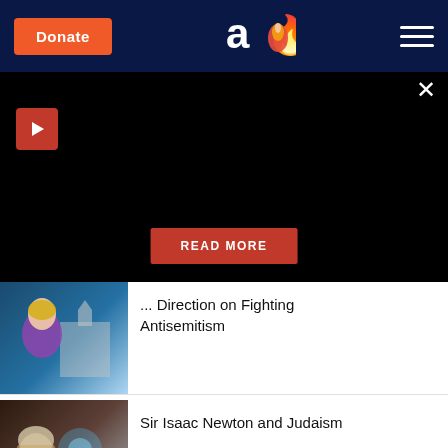Donate | Aish logo | menu
[Figure (screenshot): Black video player area with close button, play button, and READ MORE button overlay]
... Direction on Fighting Antisemitism
Sir Isaac Newton and Judaism